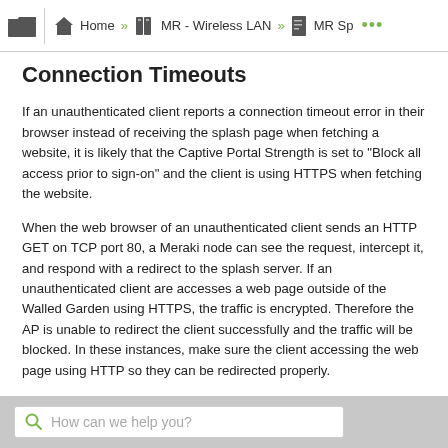Home » MR - Wireless LAN » MR Sp ...
Connection Timeouts
If an unauthenticated client reports a connection timeout error in their browser instead of receiving the splash page when fetching a website, it is likely that the Captive Portal Strength is set to "Block all access prior to sign-on" and the client is using HTTPS when fetching the website.
When the web browser of an unauthenticated client sends an HTTP GET on TCP port 80, a Meraki node can see the request, intercept it, and respond with a redirect to the splash server. If an unauthenticated client are accesses a web page outside of the Walled Garden using HTTPS, the traffic is encrypted. Therefore the AP is unable to redirect the client successfully and the traffic will be blocked. In these instances, make sure the client accessing the web page using HTTP so they can be redirected properly.
Custom URL Unreachable